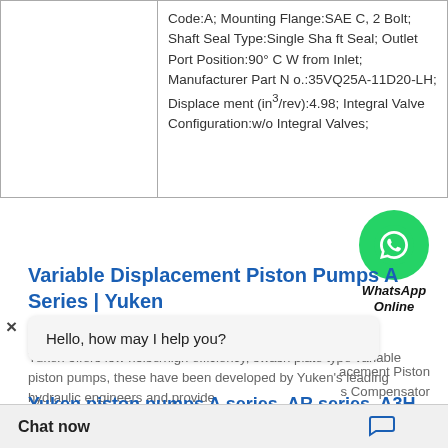|  | Code:A; Mounting Flange:SAE C, 2 Bolt; Shaft Seal Type:Single Shaft Seal; Outlet Port Position:90° CW from Inlet; Manufacturer Part No.:35VQ25A-11D20-LH; Displacement (in³/rev):4.98; Integral Valve Configuration:w/o Integral Valves; |
[Figure (illustration): WhatsApp Online chat bubble icon with phone icon on green circle background]
Variable Displacement Piston Pumps A Series | Yuken
Yuken offers low noise/high efficiency, swash plate type variable piston pumps, these have been developed by Yuken's leading hydraulic engineers and provide
Yuken piston pumps A series, AR series, A3H series, APL 1
acement Piston s Compensator
Hello, how may I help you?
Chat now